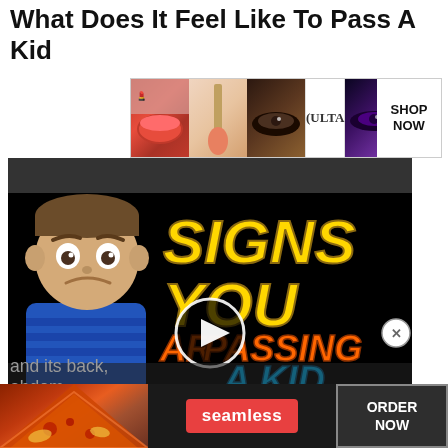What Does It Feel Like To Pass A Kidney Stone?
[Figure (screenshot): Ulta Beauty advertisement banner showing makeup/cosmetics images with SHOP NOW call to action]
[Figure (screenshot): Video thumbnail showing animated sad boy cartoon with text SIGNS YOU ARE PASSING A KID (kidney stone) with play button overlay and close X button]
When you pass a kidney stone, you may feel a sudden sharp, stabbing like pain.;The symptoms of passing a kidney stone and their severity usually depend on the location of the stone and its back, abdom
[Figure (screenshot): Seamless food delivery advertisement banner with pizza image, seamless logo, and ORDER NOW button]